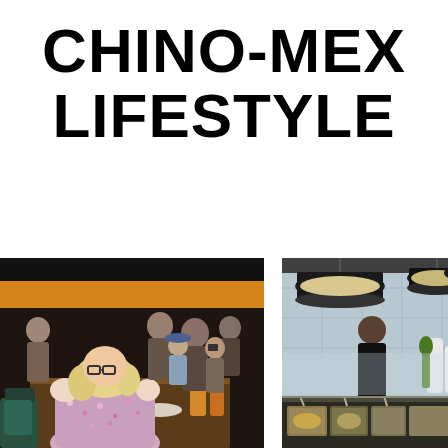CHINO-MEX LIFESTYLE
[Figure (photo): Restaurant interior scene with multiple people dining at tables, warm orange/amber accent lighting on the upper wall, dark atmosphere, a person with blonde hair in a floral dress seen from behind in the foreground.]
[Figure (photo): Restaurant interior with modern pendant lamps (black and cream colored bell-shaped), a food counter or buffet in the foreground with dishes, a chef or staff member visible in the background, light blue-grey tile wall.]